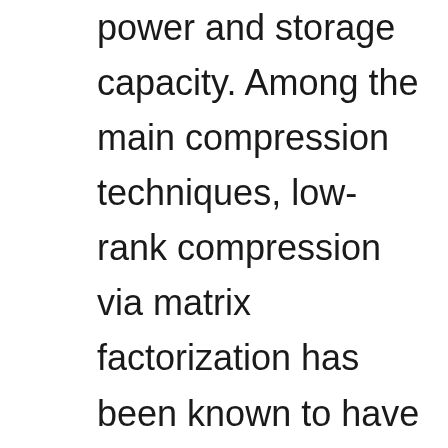power and storage capacity. Among the main compression techniques, low-rank compression via matrix factorization has been known to have two problems. First, an extensive tuning is required. Second, the resulting compression performance is typically not impressive. In this work, we propose a low-rank